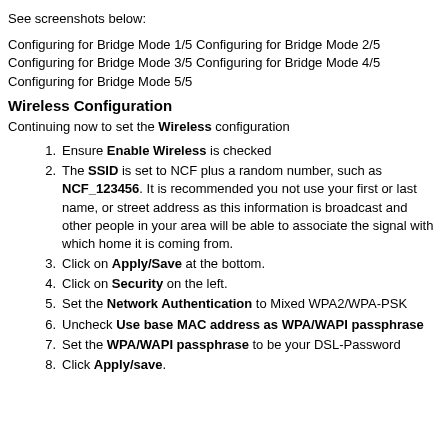See screenshots below:
Configuring for Bridge Mode 1/5 Configuring for Bridge Mode 2/5 Configuring for Bridge Mode 3/5 Configuring for Bridge Mode 4/5 Configuring for Bridge Mode 5/5
Wireless Configuration
Continuing now to set the Wireless configuration
Ensure Enable Wireless is checked
The SSID is set to NCF plus a random number, such as NCF_123456. It is recommended you not use your first or last name, or street address as this information is broadcast and other people in your area will be able to associate the signal with which home it is coming from.
Click on Apply/Save at the bottom.
Click on Security on the left.
Set the Network Authentication to Mixed WPA2/WPA-PSK
Uncheck Use base MAC address as WPA/WAPI passphrase
Set the WPA/WAPI passphrase to be your DSL-Password
Click Apply/save.